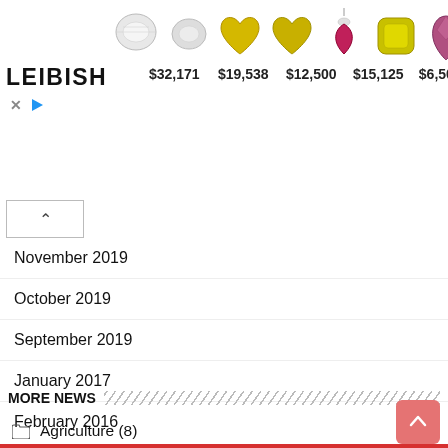[Figure (photo): Leibish jewelry advertisement banner showing gemstones and diamond jewelry with prices: $32,171, $19,538, $12,500, $15,125, $6,500]
November 2019
October 2019
September 2019
January 2017
February 2016
MORE NEWS
Agriculture (8)
Aviation (11)
Banking/Finance (399)